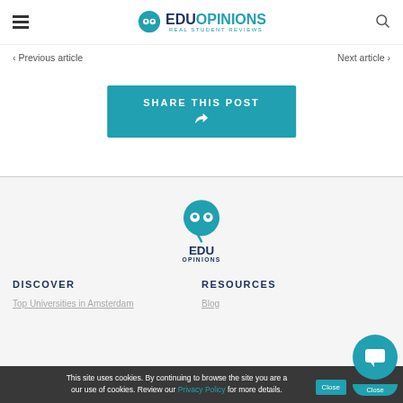EduOpinions – Real Student Reviews
< Previous article    Next article >
SHARE THIS POST
[Figure (logo): EduOpinions logo with speech bubble icon, EDU in dark blue bold, OPINIONS in teal, tagline Real Student Reviews]
DISCOVER
RESOURCES
Top Universities in Amsterdam
Blog
This site uses cookies. By continuing to browse the site you are agreeing to our use of cookies. Review our Privacy Policy for more details.
Close